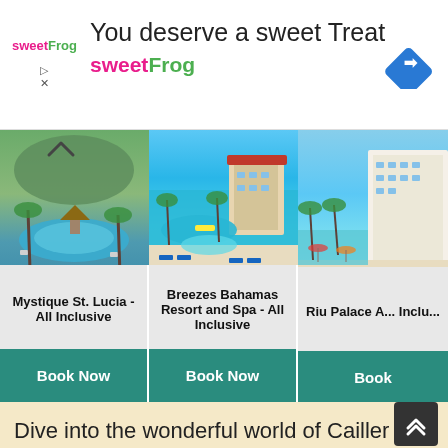[Figure (screenshot): sweetFrog advertisement banner with logo, tagline 'You deserve a sweet Treat', brand name 'sweetFrog', navigation diamond icon]
[Figure (photo): Three resort hotel cards showing pool/beach photos: Mystique St. Lucia - All Inclusive, Breezes Bahamas Resort and Spa - All Inclusive, Riu Palace A... Inclu... Each with a teal 'Book Now' button]
Dive into the wonderful world of Cailler chocolate with your every sense. Your eyes discover mysterious an